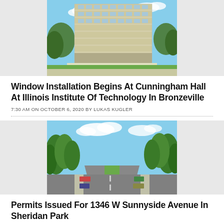[Figure (photo): Exterior photo of Cunningham Hall at Illinois Institute of Technology, a multi-story building with horizontal banded windows, surrounded by trees, blue sky background.]
Window Installation Begins At Cunningham Hall At Illinois Institute Of Technology In Bronzeville
7:30 AM ON OCTOBER 6, 2020 BY LUKAS KUGLER
[Figure (photo): Street-level photo of 1346 W Sunnyside Avenue in Sheridan Park, showing a tree-lined street with parked cars and green foliage.]
Permits Issued For 1346 W Sunnyside Avenue In Sheridan Park